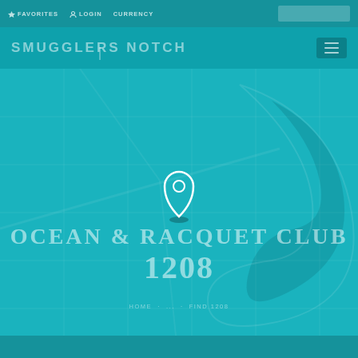FAVORITES  LOGIN  CURRENCY
SMUGGLERS NOTCH
[Figure (map): Teal/turquoise map background with a white location pin marker centered slightly left of middle, with a small elliptical shadow beneath it. Decorative wave/swoosh shape visible on the right side.]
OCEAN & RACQUET CLUB
1208
Home  ...  FIND 1208